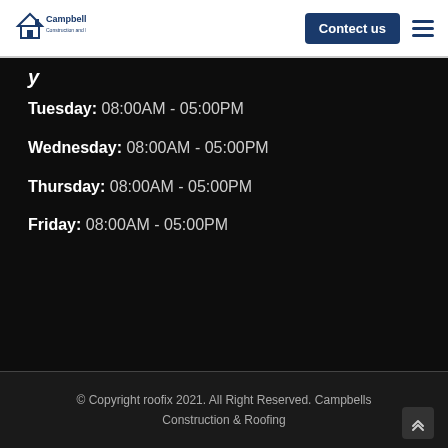[Figure (logo): Campbell's Construction and Roofing logo with house/roof icon]
Contect us
Tuesday: 08:00AM - 05:00PM
Wednesday: 08:00AM - 05:00PM
Thursday: 08:00AM - 05:00PM
Friday: 08:00AM - 05:00PM
© Copyright roofix 2021. All Right Reserved. Campbells Construction & Roofing